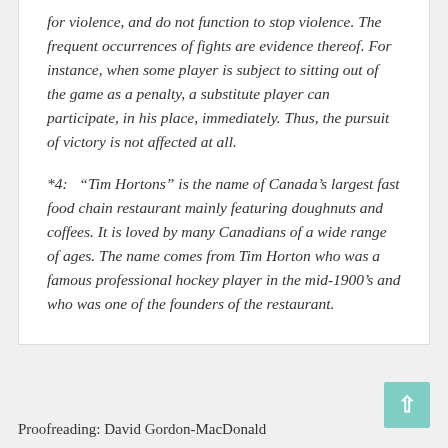for violence, and do not function to stop violence. The frequent occurrences of fights are evidence thereof. For instance, when some player is subject to sitting out of the game as a penalty, a substitute player can participate, in his place, immediately. Thus, the pursuit of victory is not affected at all.
*4: “Tim Hortons” is the name of Canada’s largest fast food chain restaurant mainly featuring doughnuts and coffees. It is loved by many Canadians of a wide range of ages. The name comes from Tim Horton who was a famous professional hockey player in the mid-1900’s and who was one of the founders of the restaurant.
Proofreading: David Gordon-MacDonald